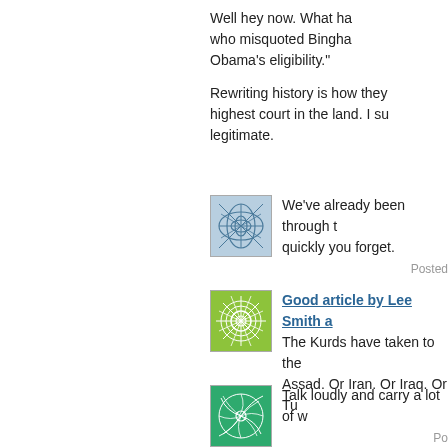Well hey now. What ha who misquoted Bingha Obama's eligibility."
Rewriting history is how they highest court in the land. I su legitimate.
[Figure (illustration): Square avatar icon with abstract geometric web/net pattern on light blue background]
We've already been through t quickly you forget.
Posted
[Figure (illustration): Square avatar icon with sunflower/mandala pattern on green background]
Good article by Lee Smith a
The Kurds have taken to the Assad. Or Iran. Or Iraq. Or Tu
[Figure (illustration): Square avatar icon with spiral/pinwheel pattern on green background]
Talk loudly and carry a lot of w
Po